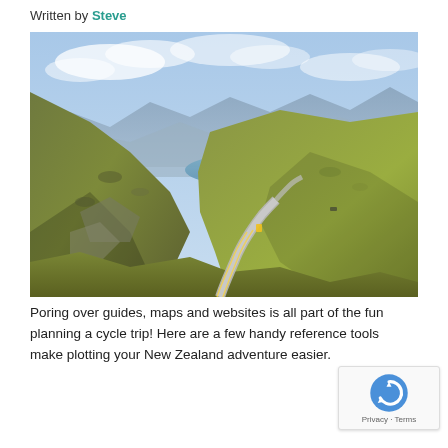Written by Steve
[Figure (photo): A winding mountain road through tawny grassy hills with a blue lake and mountain ranges visible in the background under a partly cloudy sky — New Zealand alpine scenery.]
Poring over guides, maps and websites is all part of the fun planning a cycle trip! Here are a few handy reference tools make plotting your New Zealand adventure easier.